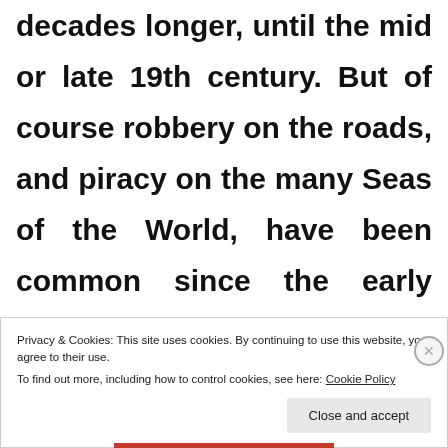decades longer, until the mid or late 19th century. But of course robbery on the roads, and piracy on the many Seas of the World, have been common since the early annals of History.
Privacy & Cookies: This site uses cookies. By continuing to use this website, you agree to their use.
To find out more, including how to control cookies, see here: Cookie Policy